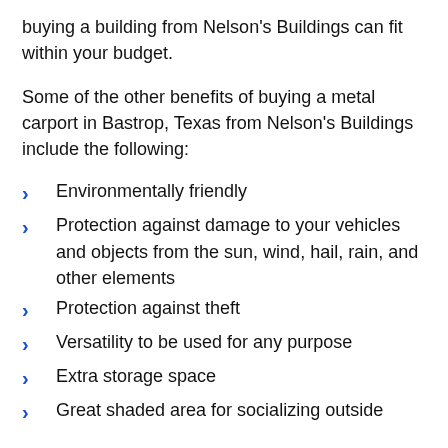buying a building from Nelson's Buildings can fit within your budget.
Some of the other benefits of buying a metal carport in Bastrop, Texas from Nelson's Buildings include the following:
Environmentally friendly
Protection against damage to your vehicles and objects from the sun, wind, hail, rain, and other elements
Protection against theft
Versatility to be used for any purpose
Extra storage space
Great shaded area for socializing outside